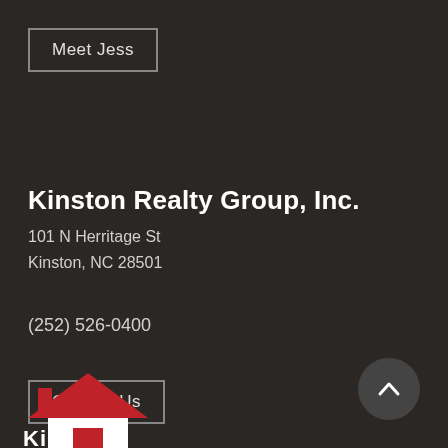Meet Jess
Kinston Realty Group, Inc.
101 N Herritage St
Kinston, NC 28501
(252) 526-0400
Contact Us
[Figure (logo): Kinston Realty Group logo with red house icon and partial company name text at bottom left of page]